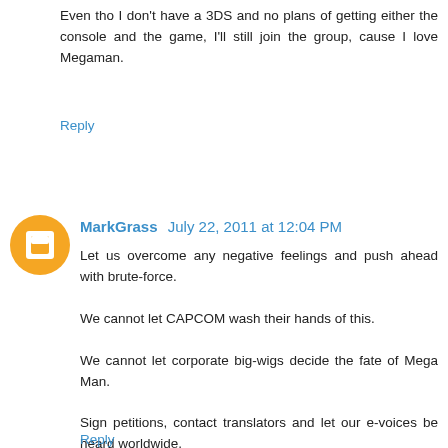Even tho I don't have a 3DS and no plans of getting either the console and the game, I'll still join the group, cause I love Megaman.
Reply
MarkGrass July 22, 2011 at 12:04 PM
Let us overcome any negative feelings and push ahead with brute-force.

We cannot let CAPCOM wash their hands of this.

We cannot let corporate big-wigs decide the fate of Mega Man.

Sign petitions, contact translators and let our e-voices be heard worldwide.

Hope and dedication can and will determine the final outcome, but only if YOU are willing to make a difference.
Reply